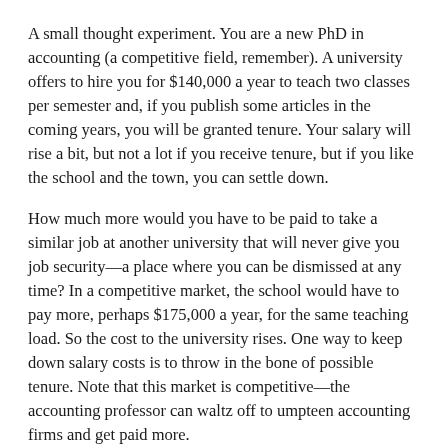A small thought experiment. You are a new PhD in accounting (a competitive field, remember). A university offers to hire you for $140,000 a year to teach two classes per semester and, if you publish some articles in the coming years, you will be granted tenure. Your salary will rise a bit, but not a lot if you receive tenure, but if you like the school and the town, you can settle down.
How much more would you have to be paid to take a similar job at another university that will never give you job security—a place where you can be dismissed at any time? In a competitive market, the school would have to pay more, perhaps $175,000 a year, for the same teaching load. So the cost to the university rises. One way to keep down salary costs is to throw in the bone of possible tenure. Note that this market is competitive—the accounting professor can waltz off to umpteen accounting firms and get paid more.
Then, say after 10-15 years, the new professor is now a tenured full professor. The benefit of tenure for her is that she doesn't